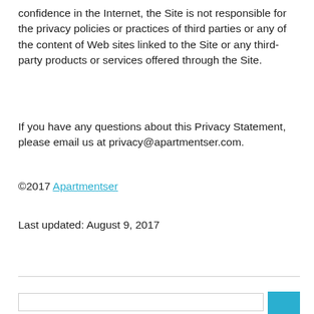confidence in the Internet, the Site is not responsible for the privacy policies or practices of third parties or any of the content of Web sites linked to the Site or any third-party products or services offered through the Site.
If you have any questions about this Privacy Statement, please email us at privacy@apartmentser.com.
©2017 Apartmentser
Last updated: August 9, 2017